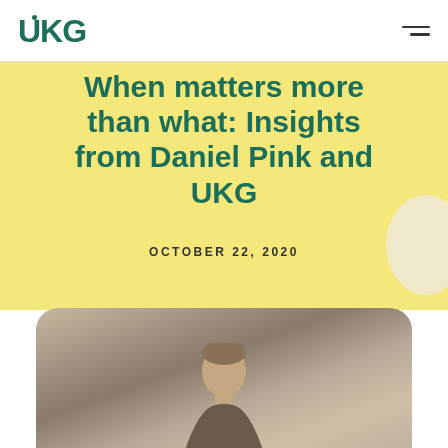UKG
When matters more than what: Insights from Daniel Pink and UKG
OCTOBER 22, 2020
[Figure (photo): Photo of a person (Daniel Pink) from shoulders up, blurred background with vertical architectural elements, rounded top corners on the image container]